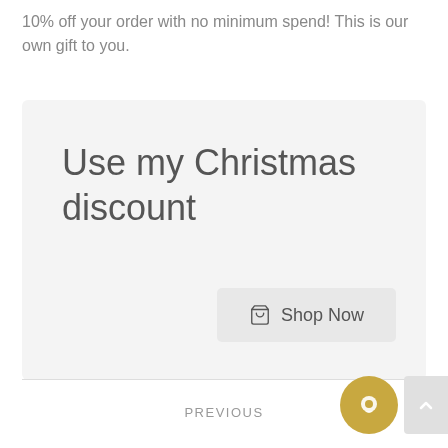10% off your order with no minimum spend! This is our own gift to you.
[Figure (other): Promotional card with text 'Use my Christmas discount' and a 'Shop Now' button with a shopping cart icon]
PREVIOUS